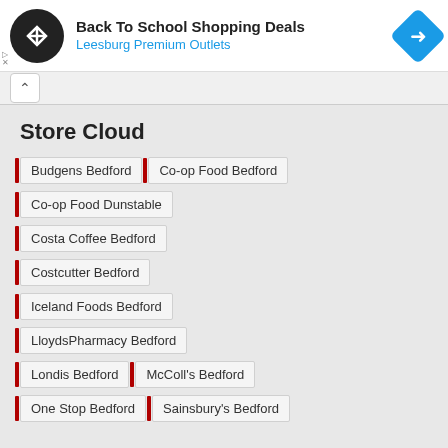[Figure (screenshot): Ad banner: Back To School Shopping Deals at Leesburg Premium Outlets with logo and navigation icon]
Budgens Bedford
Co-op Food Bedford
Co-op Food Dunstable
Costa Coffee Bedford
Costcutter Bedford
Iceland Foods Bedford
LloydsPharmacy Bedford
Londis Bedford
McColl's Bedford
One Stop Bedford
Sainsbury's Bedford